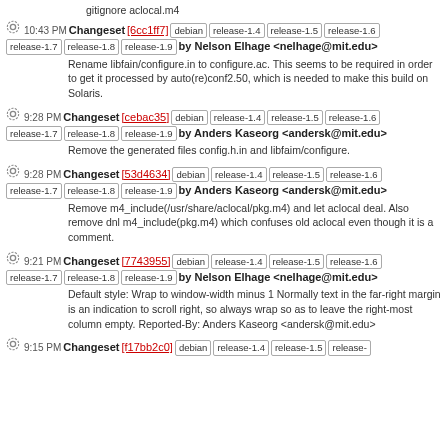gitignore aclocal.m4
10:43 PM Changeset [6cc1ff7] debian release-1.4 release-1.5 release-1.6 release-1.7 release-1.8 release-1.9 by Nelson Elhage <nelhage@mit.edu>
Rename libfain/configure.in to configure.ac. This seems to be required in order to get it processed by auto(re)conf2.50, which is needed to make this build on Solaris.
9:28 PM Changeset [cebac35] debian release-1.4 release-1.5 release-1.6 release-1.7 release-1.8 release-1.9 by Anders Kaseorg <andersk@mit.edu>
Remove the generated files config.h.in and libfaim/configure.
9:28 PM Changeset [53d4634] debian release-1.4 release-1.5 release-1.6 release-1.7 release-1.8 release-1.9 by Anders Kaseorg <andersk@mit.edu>
Remove m4_include(/usr/share/aclocal/pkg.m4) and let aclocal deal. Also remove dnl m4_include(pkg.m4) which confuses old aclocal even though it is a comment.
9:21 PM Changeset [7743955] debian release-1.4 release-1.5 release-1.6 release-1.7 release-1.8 release-1.9 by Nelson Elhage <nelhage@mit.edu>
Default style: Wrap to window-width minus 1 Normally text in the far-right margin is an indication to scroll right, so always wrap so as to leave the right-most column empty. Reported-By: Anders Kaseorg <andersk@mit.edu>
9:15 PM Changeset [f17bb2c0] debian release-1.4 release-1.5 release-